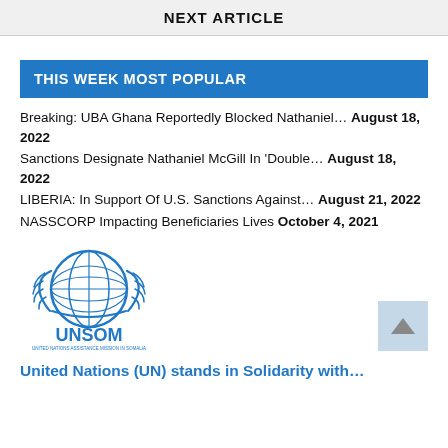NEXT ARTICLE
THIS WEEK MOST POPULAR
Breaking: UBA Ghana Reportedly Blocked Nathaniel… August 18, 2022
Sanctions Designate Nathaniel McGill In 'Double… August 18, 2022
LIBERIA: In Support Of U.S. Sanctions Against… August 21, 2022
NASSCORP Impacting Beneficiaries Lives October 4, 2021
[Figure (logo): UNSOM — United Nations Assistance Mission in Somalia logo, blue emblem with UN globe and laurel wreath, text UNSOM below]
United Nations (UN) stands in Solidarity with…